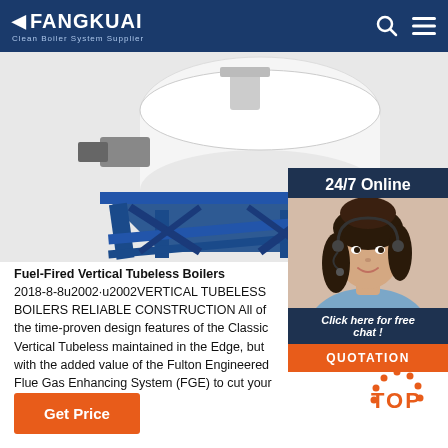FANGKUAI Clean Boiler System Supplier
[Figure (photo): Industrial fuel-fired vertical tubeless boiler on blue metal frame stand, partial view from side/top angle]
[Figure (photo): 24/7 Online customer service representative - woman with headset smiling]
Click here for free chat !
QUOTATION
Fuel-Fired Vertical Tubeless Boilers 2018-8-8u2002·u2002VERTICAL TUBELESS BOILERS RELIABLE CONSTRUCTION All of the time-proven design features of the Classic Vertical Tubeless maintained in the Edge, but with the added value of the Fulton Engineered Flue Gas Enhancing System (FGE) to cut your fuel bills substantially.
Get Price